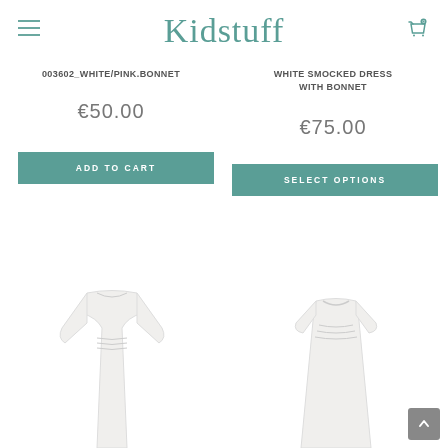Kidstuff
003602_WHITE/PINK.BONNET
WHITE SMOCKED DRESS WITH BONNET
€50.00
€75.00
ADD TO CART
SELECT OPTIONS
[Figure (photo): White smocked long-sleeve baby gown/dress]
[Figure (photo): White smocked baby dress with short sleeves]